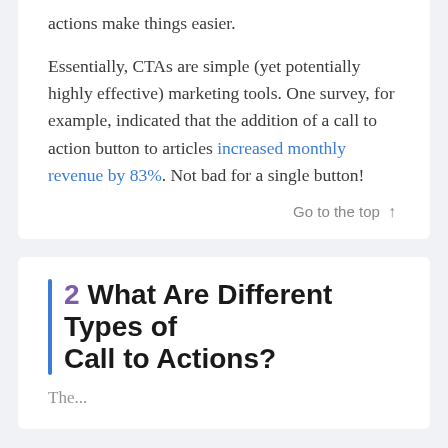actions make things easier.
Essentially, CTAs are simple (yet potentially highly effective) marketing tools. One survey, for example, indicated that the addition of a call to action button to articles increased monthly revenue by 83%. Not bad for a single button!
Go to the top ↑
2  What Are Different Types of Call to Actions?
The...